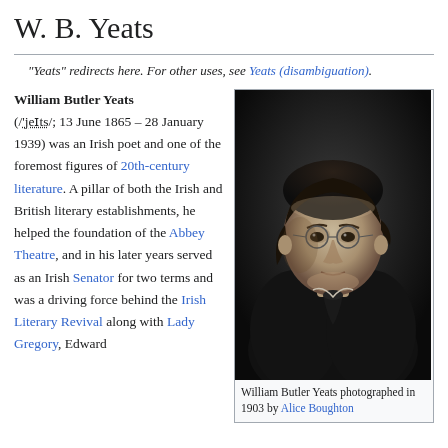W. B. Yeats
"Yeats" redirects here. For other uses, see Yeats (disambiguation).
William Butler Yeats (/ˈjeɪts/; 13 June 1865 – 28 January 1939) was an Irish poet and one of the foremost figures of 20th-century literature. A pillar of both the Irish and British literary establishments, he helped the foundation of the Abbey Theatre, and in his later years served as an Irish Senator for two terms and was a driving force behind the Irish Literary Revival along with Lady Gregory, Edward
[Figure (photo): Black and white portrait photograph of William Butler Yeats photographed in 1903 by Alice Boughton]
William Butler Yeats photographed in 1903 by Alice Boughton